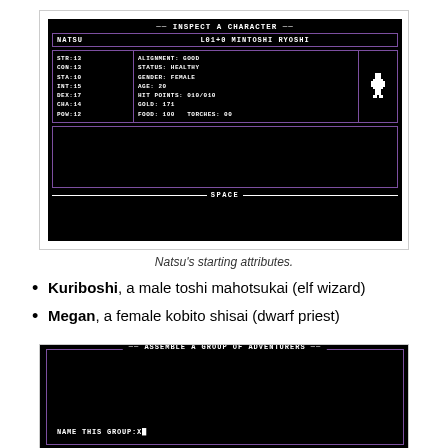[Figure (screenshot): Retro-style RPG character inspection screen showing NATSU, L01+0 MINTOSHI RYOSHI with stats: STR:13, CON:13, STA:10, INT:15, DEX:17, CHA:14, POW:12. ALIGNMENT: GOOD, STATUS: HEALTHY, GENDER: FEMALE, AGE: 20, HIT POINTS: 010/010, GOLD: 171, FOOD: 100, TORCHES: 00. Black background with purple borders and a pixelated character sprite. SPACE at bottom.]
Natsu's starting attributes.
Kuriboshi, a male toshi mahotsukai (elf wizard)
Megan, a female kobito shisai (dwarf priest)
[Figure (screenshot): Retro-style RPG screen titled ASSEMBLE A GROUP OF ADVENTURERS with black background, purple border, and text NAME THIS GROUP:X at the bottom.]